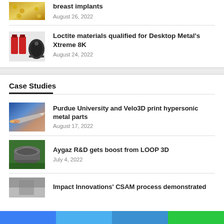[Figure (photo): Gold/yellow granular material - breast implants related image]
breast implants
August 26, 2022
[Figure (photo): Loctite bottles and dark 3D printed part - Loctite materials for Desktop Metal Xtreme 8K]
Loctite materials qualified for Desktop Metal's Xtreme 8K
August 24, 2022
Case Studies
[Figure (photo): Hypersonic vehicle/aircraft - Purdue University and Velo3D hypersonic metal parts]
Purdue University and Velo3D print hypersonic metal parts
August 17, 2022
[Figure (photo): Bowl shaped 3D printed part on green surface - Aygaz R&D LOOP 3D]
Aygaz R&D gets boost from LOOP 3D
July 4, 2022
[Figure (photo): Impact Innovations CSAM process image]
Impact Innovations' CSAM process demonstrated